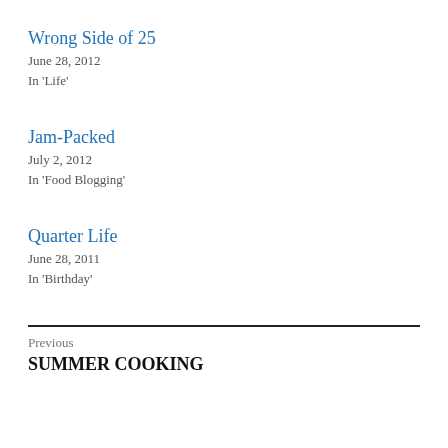Wrong Side of 25
June 28, 2012
In 'Life'
Jam-Packed
July 2, 2012
In 'Food Blogging'
Quarter Life
June 28, 2011
In 'Birthday'
Previous
SUMMER COOKING